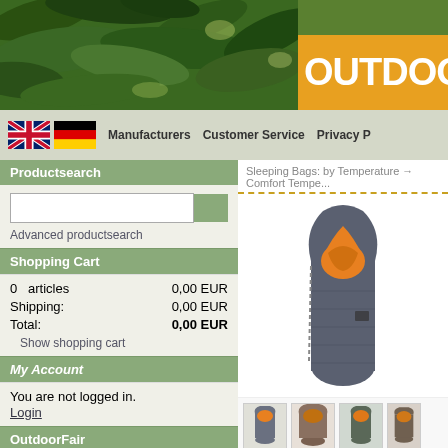[Figure (photo): Header with tree leaves photo on left and orange/yellow OutdoorFair brand logo on right]
Manufacturers   Customer Service   Privacy P...
Productsearch
Advanced productsearch
Shopping Cart
0  articles   0,00 EUR
Shipping:   0,00 EUR
Total:   0,00 EUR
Show shopping cart
My Account
You are not logged in.
Login
OutdoorFair
Wechsel-Tents Action
Tents: Accessories
Sleeping Bags: by Temperature → Comfort Tempe...
[Figure (photo): Main product image of a grey and orange mummy sleeping bag, open at the top showing bright orange interior lining]
[Figure (photo): Thumbnail images of smaller sleeping bag / product views at the bottom]